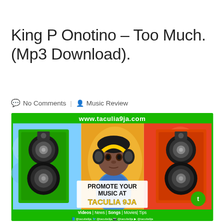King P Onotino – Too Much. (Mp3 Download).
No Comments | Music Review
[Figure (illustration): Taculia9ja.com promotional music banner featuring a young boy wearing headphones, flanked by large green and orange speakers, with text 'PROMOTE YOUR MUSIC AT TACULIA 9JA' and footer with Videos | News | Songs | Movies | Tips and social media handles @taculia9ja]